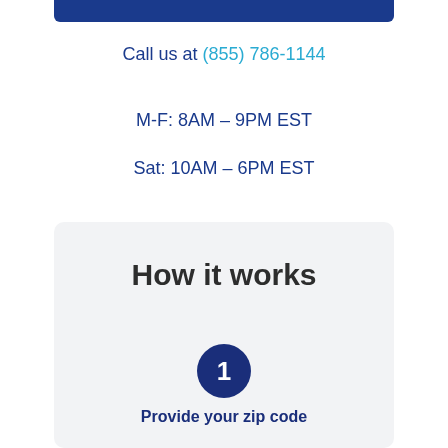Call us at (855) 786-1144
M-F: 8AM – 9PM EST
Sat: 10AM – 6PM EST
How it works
1
Provide your zip code